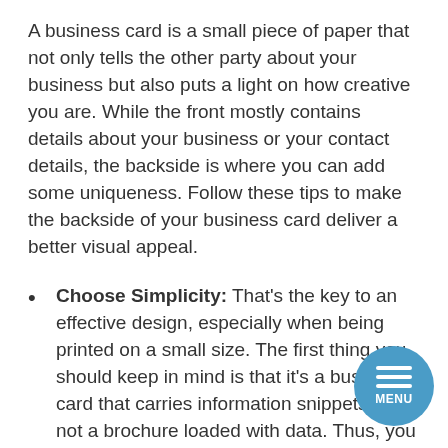A business card is a small piece of paper that not only tells the other party about your business but also puts a light on how creative you are. While the front mostly contains details about your business or your contact details, the backside is where you can add some uniqueness. Follow these tips to make the backside of your business card deliver a better visual appeal.
Choose Simplicity: That's the key to an effective design, especially when being printed on a small size. The first thing you should keep in mind is that it's a business card that carries information snippets and not a brochure loaded with data. Thus, you should focus on a simple design and minimal text that defines nothing except you and your brand.
Blank but not White: While the front carries all the contact details, you can use the backside to